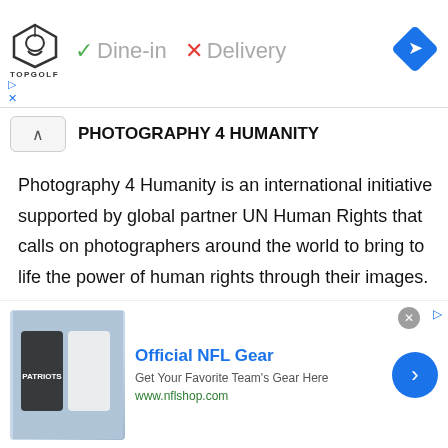[Figure (screenshot): Top ad banner with Topgolf logo, Dine-in checkmark, Delivery X mark, and navigation diamond icon]
PHOTOGRAPHY 4 HUMANITY
Photography 4 Humanity is an international initiative supported by global partner UN Human Rights that calls on photographers around the world to bring to life the power of human rights through their images. At the core of the Photography 4 Humanity initiative is a global call to action for amateur and
[Figure (screenshot): Bottom advertisement banner: Official NFL Gear - Get Your Favorite Team's Gear Here - www.nflshop.com with NFL jersey image and next arrow button]